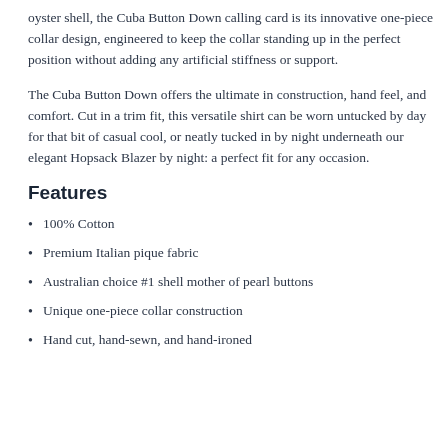oyster shell, the Cuba Button Down calling card is its innovative one-piece collar design, engineered to keep the collar standing up in the perfect position without adding any artificial stiffness or support.
The Cuba Button Down offers the ultimate in construction, hand feel, and comfort. Cut in a trim fit, this versatile shirt can be worn untucked by day for that bit of casual cool, or neatly tucked in by night underneath our elegant Hopsack Blazer by night: a perfect fit for any occasion.
Features
100% Cotton
Premium Italian pique fabric
Australian choice #1 shell mother of pearl buttons
Unique one-piece collar construction
Hand cut, hand-sewn, and hand-ironed